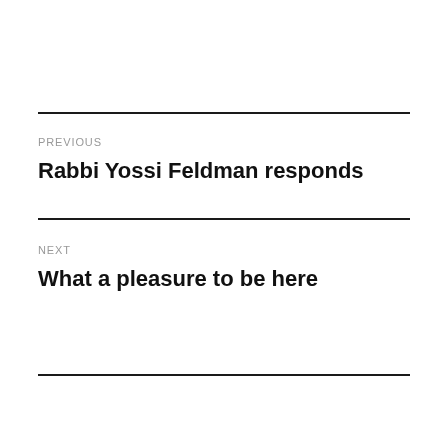PREVIOUS
Rabbi Yossi Feldman responds
NEXT
What a pleasure to be here